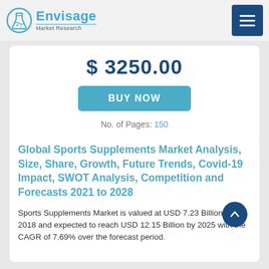Envisage Market Research
$ 3250.00
BUY NOW
No. of Pages: 150
Global Sports Supplements Market Analysis, Size, Share, Growth, Future Trends, Covid-19 Impact, SWOT Analysis, Competition and Forecasts 2021 to 2028
Sports Supplements Market is valued at USD 7.23 Billion in 2018 and expected to reach USD 12.15 Billion by 2025 with the CAGR of 7.69% over the forecast period.